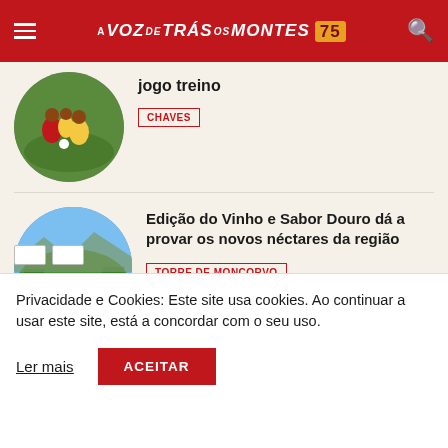A VOZ de TRÁS os MONTES 75
jogo treino
CHAVES
Edição do Vinho e Sabor Douro dá a provar os novos néctares da região
TORRE DE MONCORVO
Privacidade e Cookies: Este site usa cookies. Ao continuar a usar este site, está a concordar com o seu uso.
Ler mais
ACEITAR